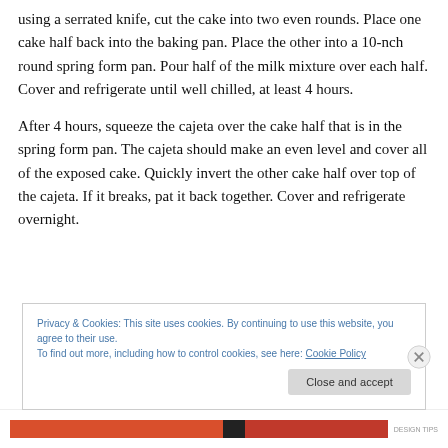using a serrated knife, cut the cake into two even rounds. Place one cake half back into the baking pan. Place the other into a 10-nch round spring form pan. Pour half of the milk mixture over each half. Cover and refrigerate until well chilled, at least 4 hours.
After 4 hours, squeeze the cajeta over the cake half that is in the spring form pan. The cajeta should make an even level and cover all of the exposed cake. Quickly invert the other cake half over top of the cajeta. If it breaks, pat it back together. Cover and refrigerate overnight.
Privacy & Cookies: This site uses cookies. By continuing to use this website, you agree to their use.
To find out more, including how to control cookies, see here: Cookie Policy